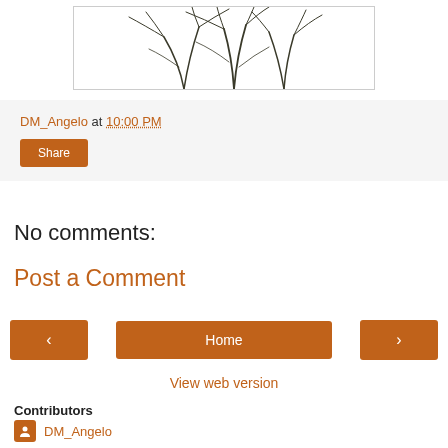[Figure (illustration): Partial view of a botanical illustration showing dark grass or fern-like plant with thin leaves against white background, inside a bordered box]
DM_Angelo at 10:00 PM
Share
No comments:
Post a Comment
< Home >
View web version
Contributors
DM_Angelo
Eric_Potter